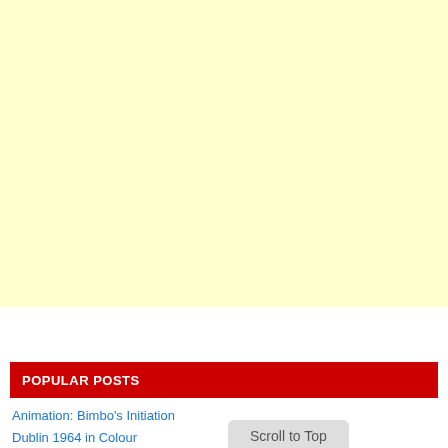[Figure (other): Large light yellow rectangle filling the top portion of the page, likely an advertisement placeholder]
POPULAR POSTS
Animation: Bimbo's Initiation
Dublin 1964 in Colour
Scroll to Top